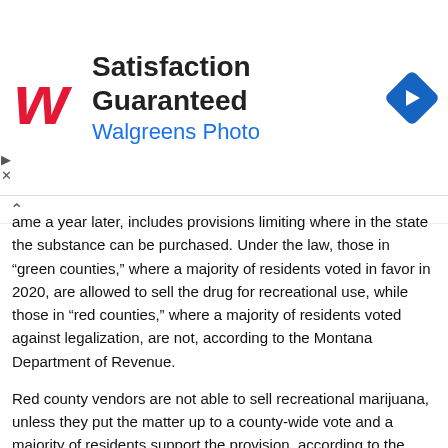[Figure (logo): Walgreens advertisement banner with W logo, text 'Satisfaction Guaranteed' and 'Walgreens Photo', and a blue diamond navigation icon]
came a year later, includes provisions limiting where in the state the substance can be purchased. Under the law, those in “green counties,” where a majority of residents voted in favor in 2020, are allowed to sell the drug for recreational use, while those in “red counties,” where a majority of residents voted against legalization, are not, according to the Montana Department of Revenue.
Red county vendors are not able to sell recreational marijuana, unless they put the matter up to a county-wide vote and a majority of residents support the provision, according to the department. Licenses are required for both the sale and use of the substance.
READ MORE